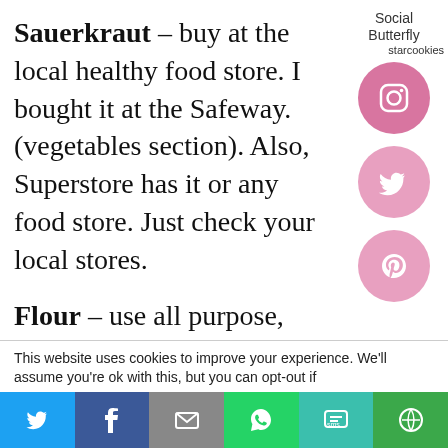Sauerkraut – buy at the local healthy food store. I bought it at the Safeway. (vegetables section). Also, Superstore has it or any food store. Just check your local stores.
[Figure (infographic): Social Butterfly starcookies branding with Instagram, Twitter, and Pinterest circular social icons in pink/mauve]
Flour – use all purpose, unbleached flour.
This website uses cookies to improve your experience. We'll assume you're ok with this, but you can opt-out if
[Figure (infographic): Share bar at bottom with Twitter, Facebook, Email, WhatsApp, SMS, and More buttons]